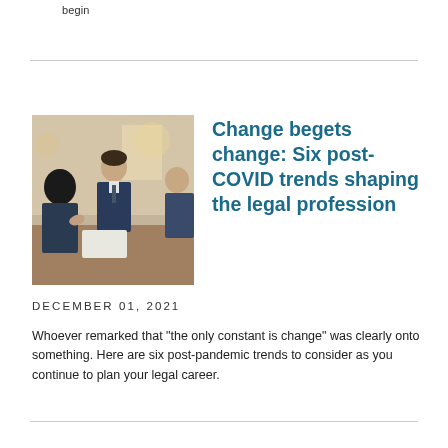begin
[Figure (photo): Business professionals in a meeting, man in suit talking with colleagues around a table]
Change begets change: Six post-COVID trends shaping the legal profession
DECEMBER 01, 2021
Whoever remarked that "the only constant is change" was clearly onto something. Here are six post-pandemic trends to consider as you continue to plan your legal career.